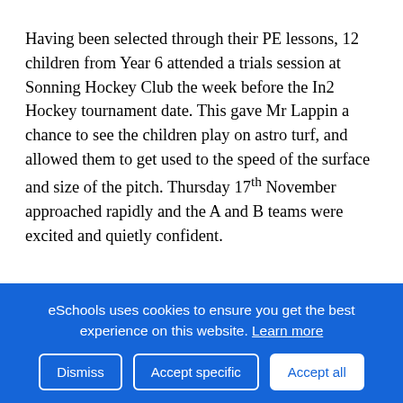Having been selected through their PE lessons, 12 children from Year 6 attended a trials session at Sonning Hockey Club the week before the In2 Hockey tournament date. This gave Mr Lappin a chance to see the children play on astro turf, and allowed them to get used to the speed of the surface and size of the pitch. Thursday 17th November approached rapidly and the A and B teams were excited and quietly confident.
...
eSchools uses cookies to ensure you get the best experience on this website. Learn more